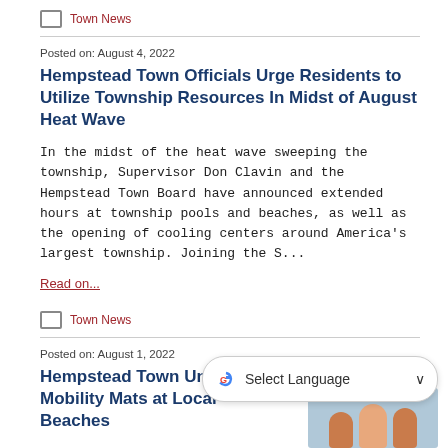Town News
Posted on: August 4, 2022
Hempstead Town Officials Urge Residents to Utilize Township Resources In Midst of August Heat Wave
In the midst of the heat wave sweeping the township, Supervisor Don Clavin and the Hempstead Town Board have announced extended hours at township pools and beaches, as well as the opening of cooling centers around America’s largest township. Joining the S…
Read on…
Town News
Posted on: August 1, 2022
Hempstead Town Unveils Mobility Mats at Local Beaches
With the summer’s heat upon us